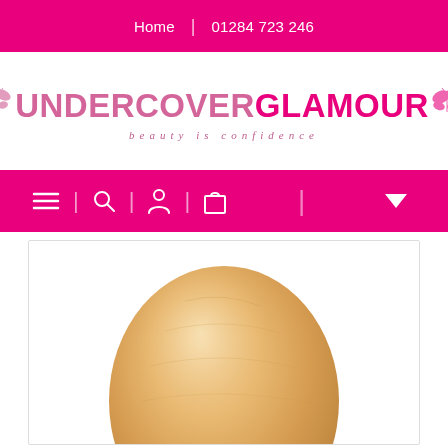Home | 01284 723 246
[Figure (logo): Undercover Glamour logo with two butterflies. Text reads UNDERCOVERGLAMOUR with tagline 'beauty is confidence']
[Figure (screenshot): Navigation bar with hamburger menu, search, account, cart icons and a dropdown arrow, all in white on magenta/pink background]
[Figure (photo): Product photo of a breast prosthesis/breast form, teardrop/oval shape in a skin/nude beige tone, on white background inside a bordered box]